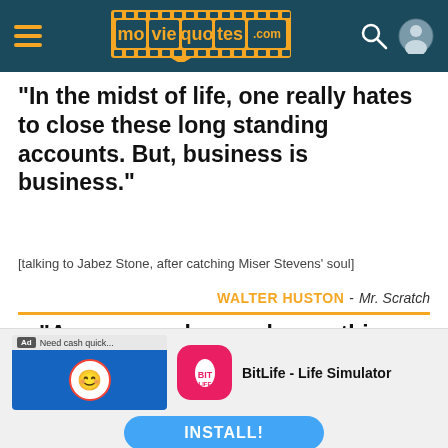[Figure (logo): moviequotes.com website header with hamburger menu, logo, search icon, and user icon on dark teal background]
“In the midst of life, one really hates to close these long standing accounts. But, business is business.”
[talking to Jabez Stone, after catching Miser Stevens’ soul]
WALTER HUSTON - Mr. Scratch
“A man can always change things. That’s what makes him different from the barnyard
[Figure (screenshot): BitLife - Life Simulator advertisement banner with game icon and INSTALL button]